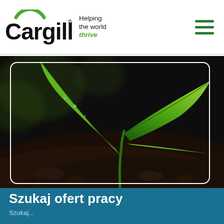Cargill – Helping the world thrive
[Figure (photo): Close-up macro photograph of a young green plant seedling with two leaves sprouting from dark soil]
Szukaj ofert pracy
Szukaj...